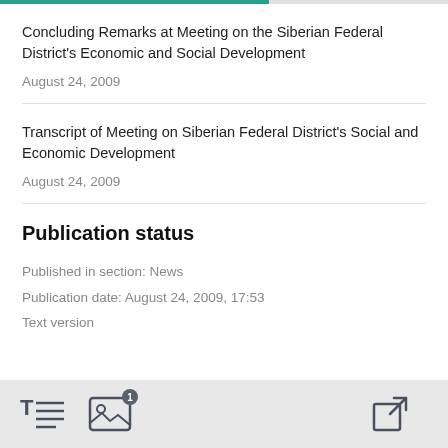Concluding Remarks at Meeting on the Siberian Federal District's Economic and Social Development
August 24, 2009
Transcript of Meeting on Siberian Federal District's Social and Economic Development
August 24, 2009
Publication status
Published in section: News
Publication date: August 24, 2009, 17:53
Text version